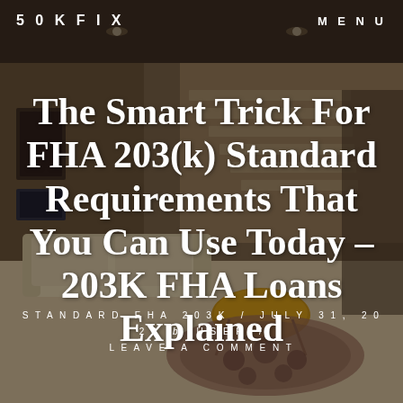50KFIX   MENU
[Figure (photo): Interior living room photo showing a modern home with stairs, sofa, coffee table, and decorative rug, used as background image with dark overlay]
The Smart Trick For FHA 203(k) Standard Requirements That You Can Use Today – 203K FHA Loans Explained
STANDARD FHA 203K / JULY 31, 2020 by USER / LEAVE A COMMENT